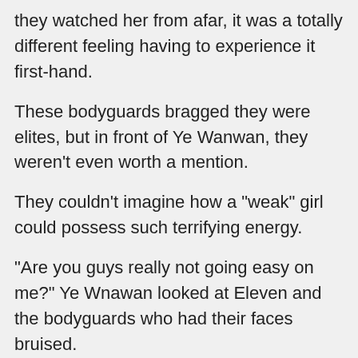they watched her from afar, it was a totally different feeling having to experience it first-hand.
These bodyguards bragged they were elites, but in front of Ye Wanwan, they weren't even worth a mention.
They couldn't imagine how a "weak" girl could possess such terrifying energy.
"Are you guys really not going easy on me?" Ye Wnawan looked at Eleven and the bodyguards who had their faces bruised.
"No… no no no…" One of the more delicate-looking bodyguards was the most brutally beaten up by Ye Wanwan. He shook his head non-stop and was